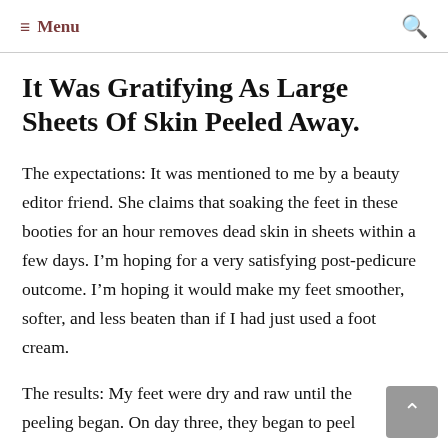≡ Menu
It Was Gratifying As Large Sheets Of Skin Peeled Away.
The expectations: It was mentioned to me by a beauty editor friend. She claims that soaking the feet in these booties for an hour removes dead skin in sheets within a few days. I'm hoping for a very satisfying post-pedicure outcome. I'm hoping it would make my feet smoother, softer, and less beaten than if I had just used a foot cream.
The results: My feet were dry and raw until the peeling began. On day three, they began to peel